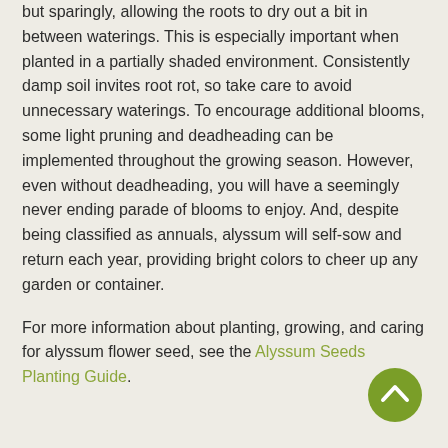but sparingly, allowing the roots to dry out a bit in between waterings. This is especially important when planted in a partially shaded environment. Consistently damp soil invites root rot, so take care to avoid unnecessary waterings. To encourage additional blooms, some light pruning and deadheading can be implemented throughout the growing season. However, even without deadheading, you will have a seemingly never ending parade of blooms to enjoy. And, despite being classified as annuals, alyssum will self-sow and return each year, providing bright colors to cheer up any garden or container.
For more information about planting, growing, and caring for alyssum flower seed, see the Alyssum Seeds Planting Guide.
[Figure (other): Green circular back-to-top button with an upward chevron arrow icon, positioned in the bottom-right corner of the page.]